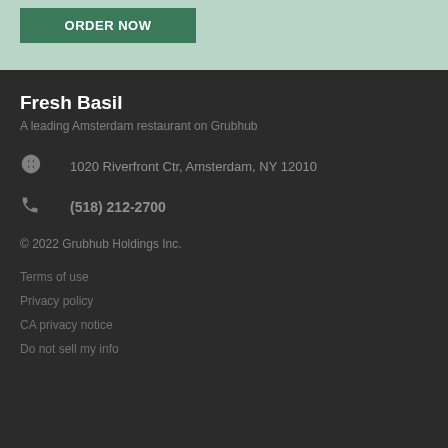ORDER NOW
Fresh Basil
A leading Amsterdam restaurant on Grubhub
1020 Riverfront Ctr, Amsterdam, NY 12010
(518) 212-2700
© 2022 Grubhub Holdings Inc.
Terms of use
Privacy policy
CA privacy notice
Do not sell my info